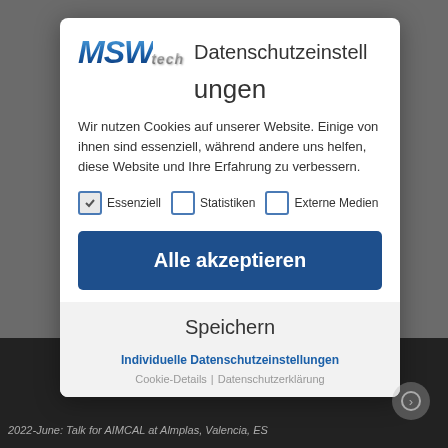[Figure (logo): MSWtech logo with blue bold italic MSW text and grey italic tech text]
Datenschutzeinstellungen
Wir nutzen Cookies auf unserer Website. Einige von ihnen sind essenziell, während andere uns helfen, diese Website und Ihre Erfahrung zu verbessern.
Essenziell (checked) | Statistiken (unchecked) | Externe Medien (unchecked)
Alle akzeptieren
Speichern
Individuelle Datenschutzeinstellungen
Cookie-Details | Datenschutzerklärung
2022-June: Talk for AIMCAL at Almplas, Valencia, ES